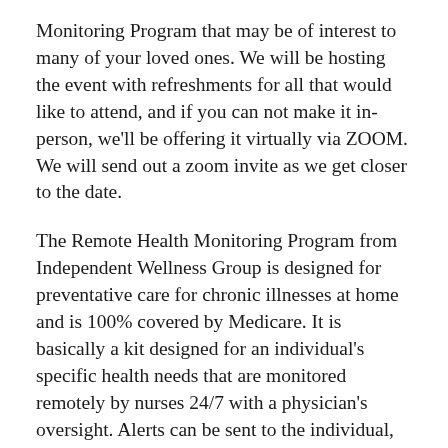Monitoring Program that may be of interest to many of your loved ones. We will be hosting the event with refreshments for all that would like to attend, and if you can not make it in-person, we'll be offering it virtually via ZOOM. We will send out a zoom invite as we get closer to the date.
The Remote Health Monitoring Program from Independent Wellness Group is designed for preventative care for chronic illnesses at home and is 100% covered by Medicare. It is basically a kit designed for an individual's specific health needs that are monitored remotely by nurses 24/7 with a physician's oversight. Alerts can be sent to the individual, family members and their doctor. From this program each individual can receive telehealth visits, have lab work brought to them and much more. No technology expertise or internet is necessary, and it is